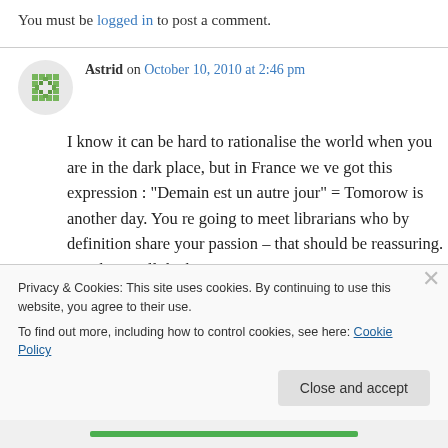You must be logged in to post a comment.
Astrid on October 10, 2010 at 2:46 pm
I know it can be hard to rationalise the world when you are in the dark place, but in France we ve got this expression : “Demain est un autre jour” = Tomorow is another day. You re going to meet librarians who by definition share your passion – that should be reassuring. I wish you all the best.
Privacy & Cookies: This site uses cookies. By continuing to use this website, you agree to their use.
To find out more, including how to control cookies, see here: Cookie Policy